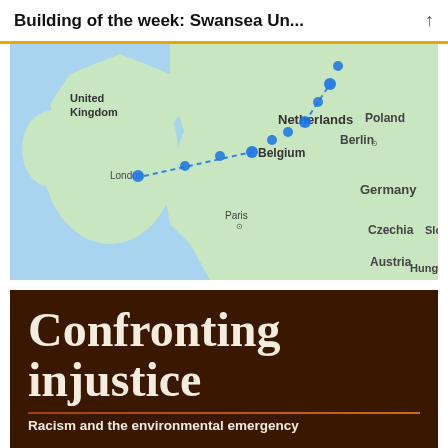Building of the week: Swansea Un...
[Figure (map): A Google Maps-style map showing Western and Central Europe with a dotted route line from London through Belgium and the Netherlands into northern Germany/Scandinavia. Countries visible include United Kingdom, Netherlands, Belgium, Germany, Poland, Czechia, Austria, and partial labels for Hungary and Slovakia. Cities labeled include London, Paris, Berlin. Blue dot markers trace the route.]
[Figure (photo): Book cover with dark brown background showing bold serif white text: 'Confronting injustice' with subtitle 'Racism and the environmental emergency']